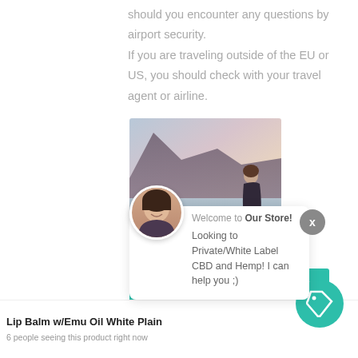should you encounter any questions by airport security.
If you are traveling outside of the EU or US, you should check with your travel agent or airline.
[Figure (photo): Landscape photo showing a lake with mountains in the background and a person sitting with their back to the camera, looking out at the water at dusk.]
Welcome to Our Store!
Looking to Private/White Label CBD and Hemp! I can help you ;)
[Figure (screenshot): Search bar with teal/green background reading 'Search for CBD and Hemp' with a search icon]
Lip Balm w/Emu Oil White Plain
6 people seeing this product right now